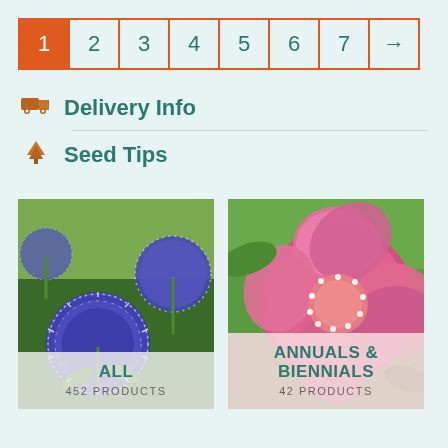1 2 3 4 5 6 7 →
Delivery Info
Seed Tips
[Figure (photo): Blue globe thistle flowers (Echinops) with spiky spherical blue-purple flower heads, close-up. Label: ALL, 452 PRODUCTS]
[Figure (photo): Pink double poppy flowers close-up with white stamen tips. Label: ANNUALS & BIENNIALS, 42 PRODUCTS]